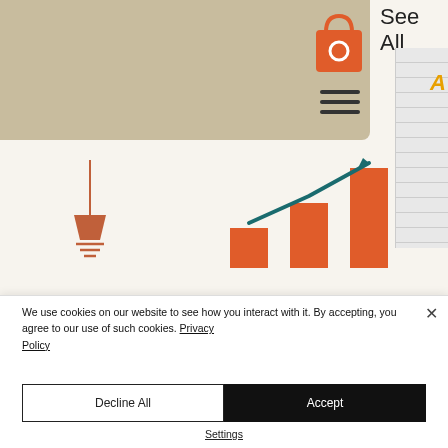[Figure (screenshot): Website screenshot showing a beige/tan navigation overlay with shopping bag icon and hamburger menu, a 'See All' link, a bar and line chart illustration, and an article preview with title 'Are KPIs and Metrics One and The Same?'. Right side shows a partial notebook/ruled paper strip with yellow letter 'A'.]
Are KPIs and Metrics One and The Same?
We use cookies on our website to see how you interact with it. By accepting, you agree to our use of such cookies. Privacy Policy
Decline All
Accept
Settings